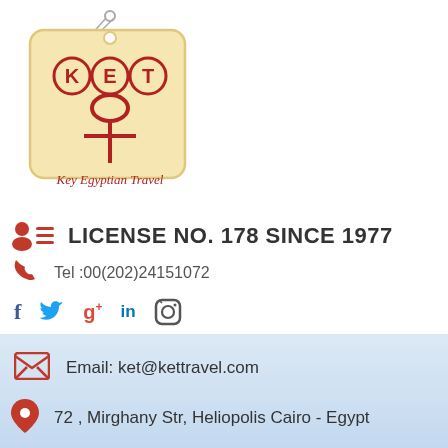[Figure (logo): Key Egyptian Travel (KET) logo - a luggage tag shape in tan/cream color with red text KET, an ankh cross symbol, and text 'Key Egyptian Travel'. A metal chain is attached at top.]
LICENSE NO. 178 SINCE 1977
Tel :00(202)24151072
[Figure (infographic): Social media icons: Facebook (f), Twitter bird, Google+ (g+), LinkedIn (in), Instagram camera icon]
Email: ket@kettravel.com
72 , Mirghany Str, Heliopolis Cairo - Egypt
Select a page: